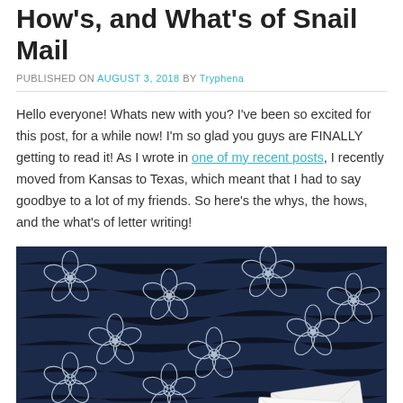How's, and What's of Snail Mail
PUBLISHED ON August 3, 2018 by Tryphena
Hello everyone! Whats new with you? I've been so excited for this post, for a while now! I'm so glad you guys are FINALLY getting to read it! As I wrote in one of my recent posts, I recently moved from Kansas to Texas, which meant that I had to say goodbye to a lot of my friends. So here's the whys, the hows, and the what's of letter writing!
[Figure (photo): Dark navy blue fabric with white floral/snowflake pattern, with white envelopes visible in the bottom right corner]